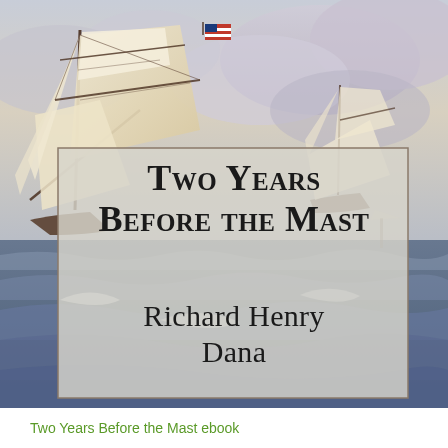[Figure (illustration): Painting of a tall ship with full white sails on rough seas, with an American flag visible on the mast and stormy clouds in the background. A semi-transparent box overlay contains the book title and author name.]
Two Years Before the Mast
Richard Henry Dana
Two Years Before the Mast ebook